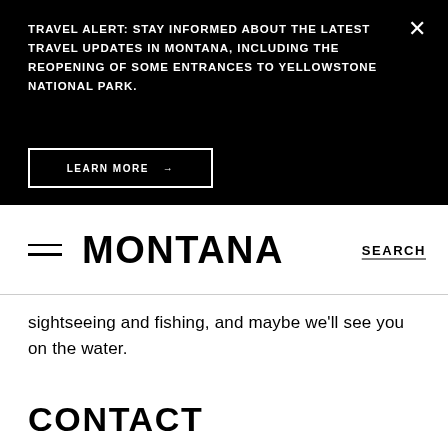TRAVEL ALERT: STAY INFORMED ABOUT THE LATEST TRAVEL UPDATES IN MONTANA, INCLUDING THE REOPENING OF SOME ENTRANCES TO YELLOWSTONE NATIONAL PARK.
LEARN MORE →
MONTANA   SEARCH
sightseeing and fishing, and maybe we'll see you on the water.
CONTACT